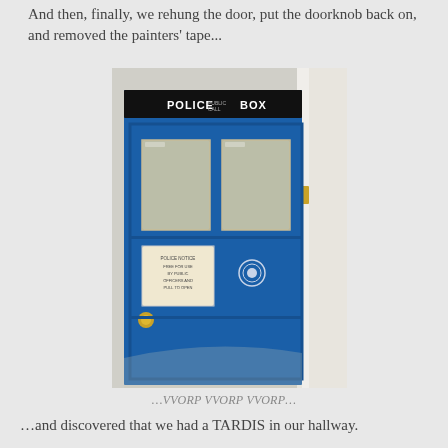And then, finally, we rehung the door, put the doorknob back on, and removed the painters' tape...
[Figure (photo): A door painted TARDIS blue with a 'POLICE BOX' sign at the top, two frosted window panels, a small notice placard, a circular badge, and a brass doorknob. The door is partially open showing a white door frame and wall to the right.]
…VVORP VVORP VVORP…
…and discovered that we had a TARDIS in our hallway.